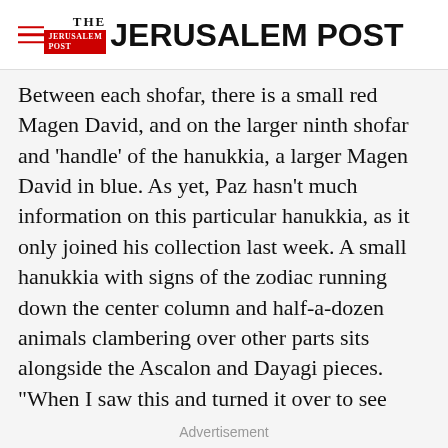THE JERUSALEM POST
Between each shofar, there is a small red Magen David, and on the larger ninth shofar and 'handle' of the hanukkia, a larger Magen David in blue. As yet, Paz hasn't much information on this particular hanukkia, as it only joined his collection last week. A small hanukkia with signs of the zodiac running down the center column and half-a-dozen animals clambering over other parts sits alongside the Ascalon and Dayagi pieces. "When I saw this and turned it over to see
Advertisement